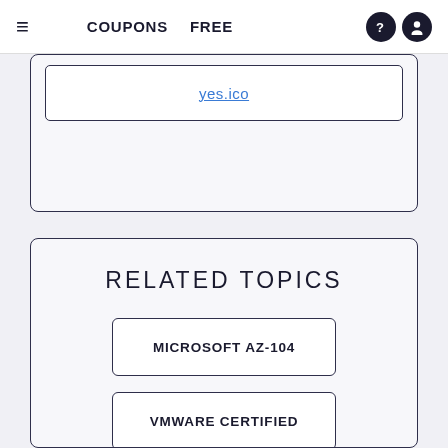COUPONS  FREE
[Figure (screenshot): Partial card with a link/text box at the top of the page, cropped at the top]
RELATED TOPICS
MICROSOFT AZ-104
VMWARE CERTIFIED